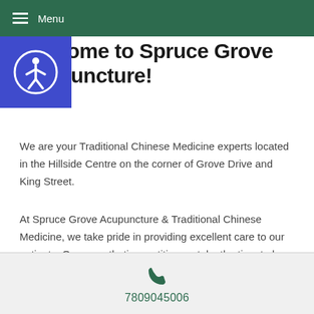Menu
Welcome to Spruce Grove Acupuncture!
[Figure (logo): Accessibility widget icon — blue square with a white person/accessibility symbol inside a circle]
We are your Traditional Chinese Medicine experts located in the Hillside Centre on the corner of Grove Drive and King Street.
At Spruce Grove Acupuncture & Traditional Chinese Medicine, we take pride in providing excellent care to our patients. Our empathetic practitioners take the time to hear your concerns and to provide you the care you need.
7809045006